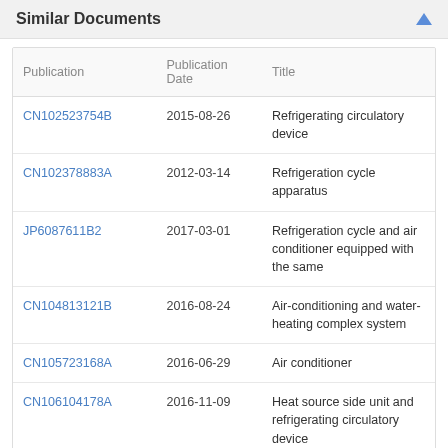Similar Documents
| Publication | Publication Date | Title |
| --- | --- | --- |
| CN102523754B | 2015-08-26 | Refrigerating circulatory device |
| CN102378883A | 2012-03-14 | Refrigeration cycle apparatus |
| JP6087611B2 | 2017-03-01 | Refrigeration cycle and air conditioner equipped with the same |
| CN104813121B | 2016-08-24 | Air-conditioning and water-heating complex system |
| CN105723168A | 2016-06-29 | Air conditioner |
| CN106104178A | 2016-11-09 | Heat source side unit and refrigerating circulatory device |
| CN105247302A | 2016-01-13 | Air conditioner |